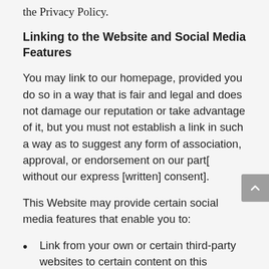the Privacy Policy.
Linking to the Website and Social Media Features
You may link to our homepage, provided you do so in a way that is fair and legal and does not damage our reputation or take advantage of it, but you must not establish a link in such a way as to suggest any form of association, approval, or endorsement on our part[ without our express [written] consent].
This Website may provide certain social media features that enable you to:
Link from your own or certain third-party websites to certain content on this Website.
Send emails or other communications with